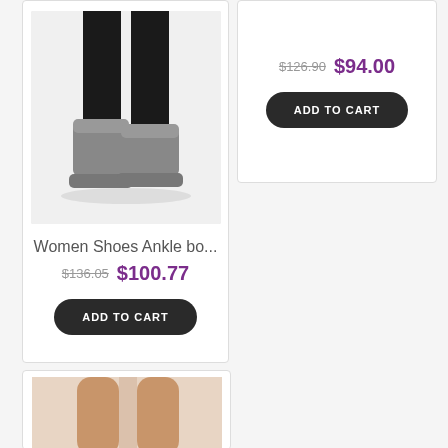[Figure (photo): Top-right product card showing sale price $126.90 struck through and $94.00 in purple, with ADD TO CART dark rounded button]
[Figure (photo): Gray suede UGG-style ankle boots worn with black leggings on white background]
Women Shoes Ankle bo...
$136.05  $100.77
ADD TO CART
[Figure (photo): Partial view of tan/nude legs, bottom card partially visible]